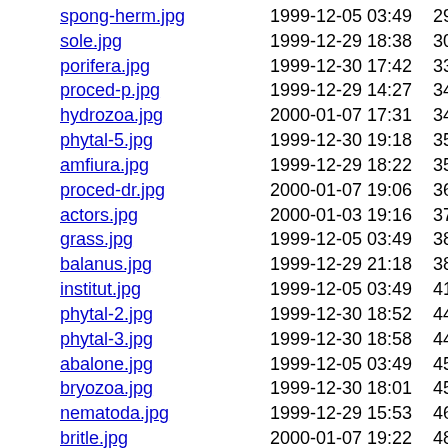| Filename | Date | Time | Size |
| --- | --- | --- | --- |
| spong-herm.jpg | 1999-12-05 | 03:49 | 29K |
| sole.jpg | 1999-12-29 | 18:38 | 30K |
| porifera.jpg | 1999-12-30 | 17:42 | 33K |
| proced-p.jpg | 1999-12-29 | 14:27 | 34K |
| hydrozoa.jpg | 2000-01-07 | 17:31 | 34K |
| phytal-5.jpg | 1999-12-30 | 19:18 | 35K |
| amfiura.jpg | 1999-12-29 | 18:22 | 35K |
| proced-dr.jpg | 2000-01-07 | 19:06 | 36K |
| actors.jpg | 2000-01-03 | 19:16 | 37K |
| grass.jpg | 1999-12-05 | 03:49 | 38K |
| balanus.jpg | 1999-12-29 | 21:18 | 38K |
| institut.jpg | 1999-12-05 | 03:49 | 41K |
| phytal-2.jpg | 1999-12-30 | 18:52 | 44K |
| phytal-3.jpg | 1999-12-30 | 18:58 | 44K |
| abalone.jpg | 1999-12-05 | 03:49 | 45K |
| bryozoa.jpg | 1999-12-30 | 18:01 | 45K |
| nematoda.jpg | 1999-12-29 | 15:53 | 46K |
| britle.jpg | 2000-01-07 | 19:22 | 48K |
| pinule.jpg | 1999-12-29 | 17:02 | 48K |
| phytal-4.jpg | 1999-12-30 | 19:10 | 49K |
| ...(cut)... | 1999-12-30 | 20:18 | 50K |